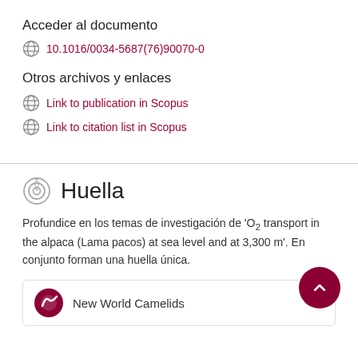Acceder al documento
10.1016/0034-5687(76)90070-0
Otros archivos y enlaces
Link to publication in Scopus
Link to citation list in Scopus
Huella
Profundice en los temas de investigación de 'O<inf>2</inf> transport in the alpaca (Lama pacos) at sea level and at 3,300 m'. En conjunto forman una huella única.
New World Camelids